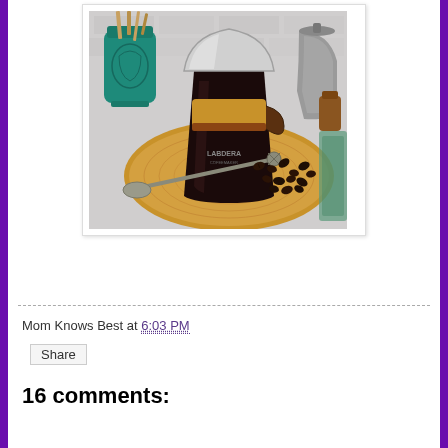[Figure (photo): A Chemex pour-over coffee maker with a metal filter cone on top, sitting on a round wooden board. A teal mason jar with wooden utensils is in the background left, a metal coffee kettle on the right. Coffee beans are scattered on the board, and a vintage metal measuring spoon is laid across the board. The brand label 'LABDERA' is visible on the carafe.]
Mom Knows Best at 6:03 PM
Share
16 comments: